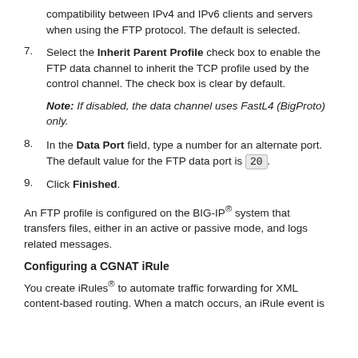Select the Translate Extended check box to ensure compatibility between IPv4 and IPv6 clients and servers when using the FTP protocol. The default is selected.
Select the Inherit Parent Profile check box to enable the FTP data channel to inherit the TCP profile used by the control channel. The check box is clear by default.
Note: If disabled, the data channel uses FastL4 (BigProto) only.
In the Data Port field, type a number for an alternate port. The default value for the FTP data port is 20.
Click Finished.
An FTP profile is configured on the BIG-IP® system that transfers files, either in an active or passive mode, and logs related messages.
Configuring a CGNAT iRule
You create iRules® to automate traffic forwarding for XML content-based routing. When a match occurs, an iRule event is